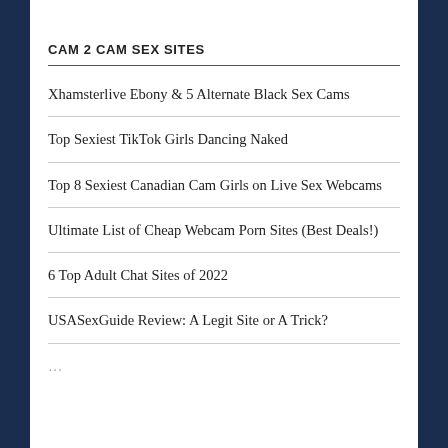CAM 2 CAM SEX SITES
Xhamsterlive Ebony & 5 Alternate Black Sex Cams
Top Sexiest TikTok Girls Dancing Naked
Top 8 Sexiest Canadian Cam Girls on Live Sex Webcams
Ultimate List of Cheap Webcam Porn Sites (Best Deals!)
6 Top Adult Chat Sites of 2022
USASexGuide Review: A Legit Site or A Trick?
…